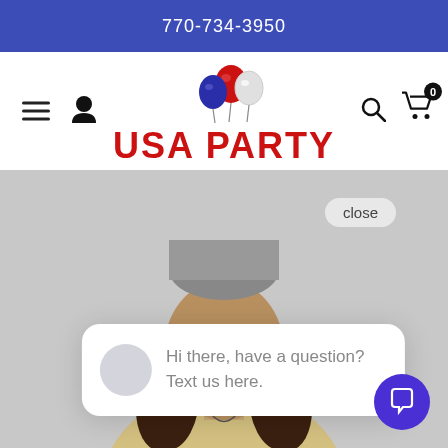770-734-3950
[Figure (logo): USA Party logo with colorful balloons above text]
[Figure (photo): Woman with curly hair wearing a hat, party theme]
close
Hi there, have a question? Text us here.